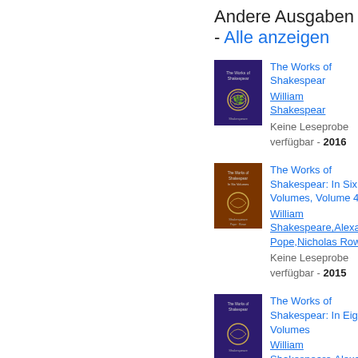Andere Ausgaben - Alle anzeigen
[Figure (illustration): Book cover of The Works of Shakespear - dark purple/navy cover with gold laurel wreath emblem]
The Works of Shakespear
William Shakespear
Keine Leseprobe verfügbar - 2016
[Figure (illustration): Book cover of The Works of Shakespear: In Six Volumes, Volume 4 - dark brown/orange cover with gold laurel wreath emblem]
The Works of Shakespear: In Six Volumes, Volume 4
William Shakespeare,Alexander Pope,Nicholas Rowe
Keine Leseprobe verfügbar - 2015
[Figure (illustration): Book cover of The Works of Shakespear: In Eight Volumes - dark purple/navy cover with gold laurel wreath emblem]
The Works of Shakespear: In Eight Volumes
William Shakespeare,Alexander